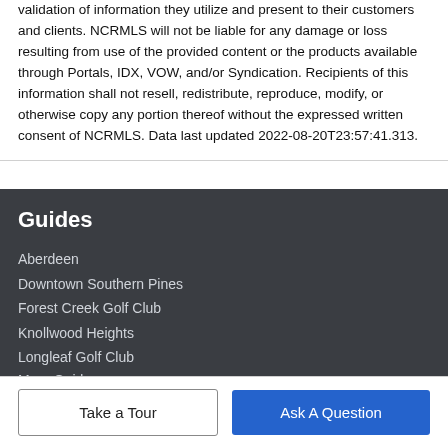validation of information they utilize and present to their customers and clients. NCRMLS will not be liable for any damage or loss resulting from use of the provided content or the products available through Portals, IDX, VOW, and/or Syndication. Recipients of this information shall not resell, redistribute, reproduce, modify, or otherwise copy any portion thereof without the expressed written consent of NCRMLS. Data last updated 2022-08-20T23:57:41.313.
Guides
Aberdeen
Downtown Southern Pines
Forest Creek Golf Club
Knollwood Heights
Longleaf Golf Club
More Guides ›
Take a Tour
Ask A Question